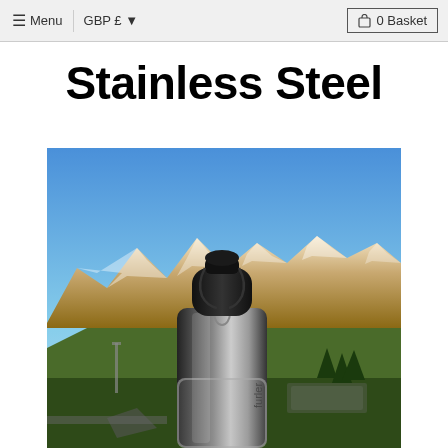Menu  GBP £  0 Basket
Stainless Steel
[Figure (photo): A stainless steel water bottle with a black lid and carabiner clip, held up against a scenic background of snow-capped mountains (The Remarkables, Queenstown, New Zealand) under a clear blue sky. The bottle has the word 'furler' visible on it.]